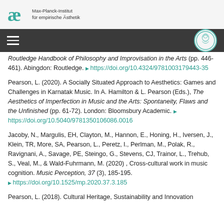Max-Planck-Institut für empirische Ästhetik
Routledge Handbook of Philosophy and Improvisation in the Arts (pp. 446-461). Abingdon: Routledge. https://doi.org/10.4324/9781003179443-35
Pearson, L. (2020). A Socially Situated Approach to Aesthetics: Games and Challenges in Karnatak Music. In A. Hamilton & L. Pearson (Eds.), The Aesthetics of Imperfection in Music and the Arts: Spontaneity, Flaws and the Unfinished (pp. 61-72). London: Bloomsbury Academic. https://doi.org/10.5040/9781350106086.0016
Jacoby, N., Margulis, EH, Clayton, M., Hannon, E., Honing, H., Iversen, J., Klein, TR, More, SA, Pearson, L., Peretz, I., Perlman, M., Polak, R., Ravignani, A., Savage, PE, Steingo, G., Stevens, CJ, Trainor, L., Trehub, S., Veal, M., & Wald-Fuhrmann, M. (2020) , Cross-cultural work in music cognition. Music Perception, 37 (3), 185-195. https://doi.org/10.1525/mp.2020.37.3.185
Pearson, L. (2018). Cultural Heritage, Sustainability and Innovation